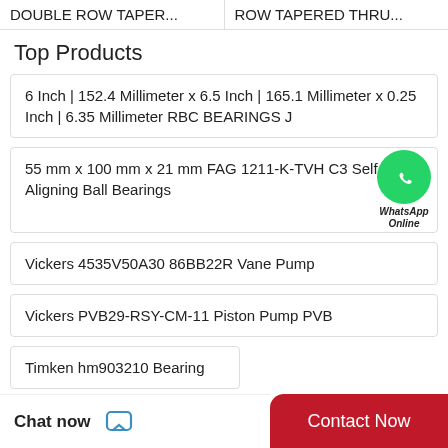DOUBLE ROW TAPER... | ROW TAPERED THRU...
Top Products
6 Inch | 152.4 Millimeter x 6.5 Inch | 165.1 Millimeter x 0.25 Inch | 6.35 Millimeter RBC BEARINGS J
55 mm x 100 mm x 21 mm FAG 1211-K-TVH C3 Self Aligning Ball Bearings
Vickers 4535V50A30 86BB22R Vane Pump
Vickers PVB29-RSY-CM-11 Piston Pump PVB
Timken hm903210 Bearing
[Figure (logo): WhatsApp Online green circle icon with phone handset, labeled WhatsApp Online]
Chat now | Contact Now